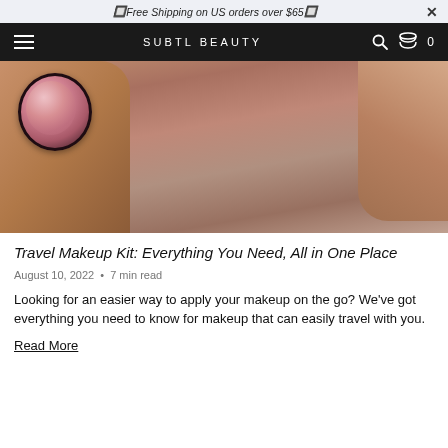🔹 Free Shipping on US orders over $65 🔹
SUBTL BEAUTY
[Figure (photo): Close-up of a person's hands holding a round makeup compact (blush/bronzer) near their chin/neck area. The compact is open showing a dusty pink/mauve pressed powder.]
Travel Makeup Kit: Everything You Need, All in One Place
August 10, 2022 • 7 min read
Looking for an easier way to apply your makeup on the go? We've got everything you need to know for makeup that can easily travel with you.
Read More